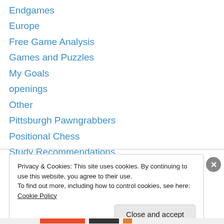Endgames
Europe
Free Game Analysis
Games and Puzzles
My Goals
openings
Other
Pittsburgh Pawngrabbers
Positional Chess
Study Recommendations
Uncategorized
Privacy & Cookies: This site uses cookies. By continuing to use this website, you agree to their use.
To find out more, including how to control cookies, see here: Cookie Policy
Close and accept